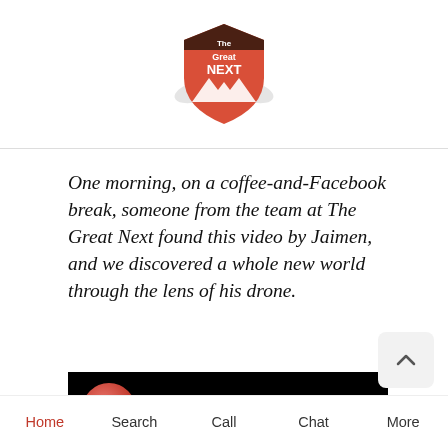[Figure (logo): The Great Next shield logo — red/orange shield shape with dark brown band at top, white mountain silhouette at bottom, text 'The Great NEXT' in white]
One morning, on a coffee-and-Facebook break, someone from the team at The Great Next found this video by Jaimen, and we discovered a whole new world through the lens of his drone.
[Figure (screenshot): Video thumbnail strip with black background and partial circular avatar (red/pink) visible on the left]
Home   Search   Call   Chat   More